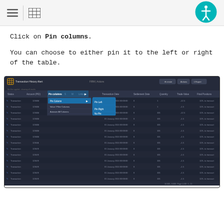[Figure (screenshot): Top navigation bar with hamburger menu icon, table/list icon, divider, and teal accessibility icon on the right]
Click on Pin columns.
You can choose to either pin it to the left or right of the table.
[Figure (screenshot): Screenshot of a dark-themed Transaction History Alert data grid application showing a context menu with 'Pin columns' option selected and a submenu showing 'Pin left', 'Pin right', 'No pin' options]